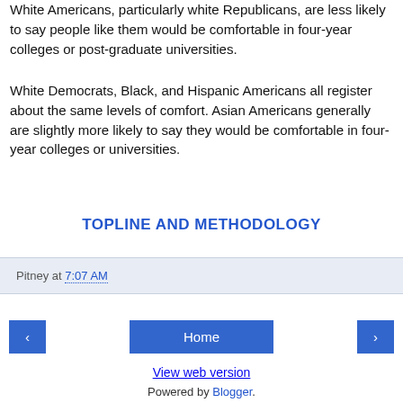White Americans, particularly white Republicans, are less likely to say people like them would be comfortable in four-year colleges or post-graduate universities.
White Democrats, Black, and Hispanic Americans all register about the same levels of comfort. Asian Americans generally are slightly more likely to say they would be comfortable in four-year colleges or universities.
TOPLINE AND METHODOLOGY
Pitney at 7:07 AM
Home
View web version
Powered by Blogger.